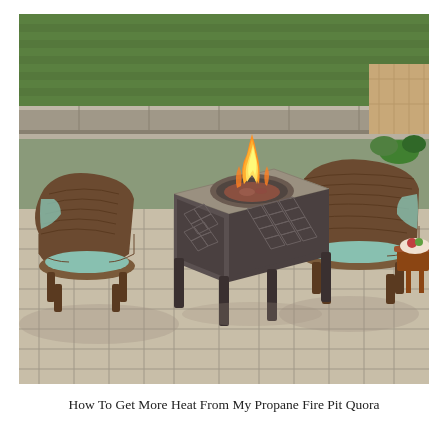[Figure (photo): Outdoor patio scene with a propane fire pit table at center, flames burning above decorative fire glass. Two wicker chairs with teal cushions flank the fire pit on the left and right. A small side table with food and drinks is visible on the right. The patio has stone pavers, a green lawn in the background, and a retaining wall with plants.]
How To Get More Heat From My Propane Fire Pit Quora